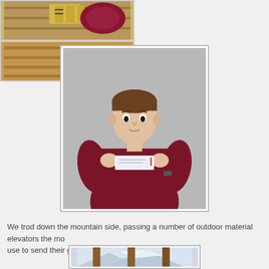[Figure (photo): Partial top-left photo showing yellow items and maroon fabric on a bench]
[Figure (photo): Partial top-right photo showing a wooden bench surface]
[Figure (photo): Center photo of a young man in a maroon/dark red fleece jacket holding a small card or ticket in front of him, standing against a gray background]
We trod down the mountain side, passing a number of outdoor material elevators the mo use to send their groceries home.
[Figure (photo): Partially visible bottom photo showing snowy mountain and wooden columns or posts]